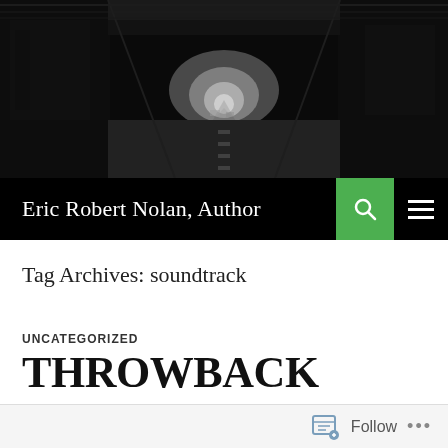[Figure (photo): Black and white photo of a dark tunnel or underpass with light at the far end, street and buildings visible]
Eric Robert Nolan, Author
Tag Archives: soundtrack
UNCATEGORIZED
THROWBACK THURSDAY: THE “PLATOON” SOUNDTRACK (1987)
Follow